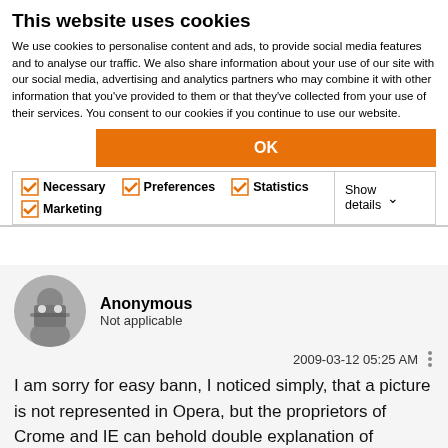This website uses cookies
We use cookies to personalise content and ads, to provide social media features and to analyse our traffic. We also share information about your use of our site with our social media, advertising and analytics partners who may combine it with other information that you’ve provided to them or that they’ve collected from your use of their services. You consent to our cookies if you continue to use our website.
OK
Necessary  Preferences  Statistics  Marketing  Show details
Anonymous
Not applicable
2009-03-12 05:25 AM
I am sorry for easy bann, I noticed simply, that a picture is not represented in Opera, but the proprietors of Crome and IE can behold double explanation of problem :0 😃
0 Likes